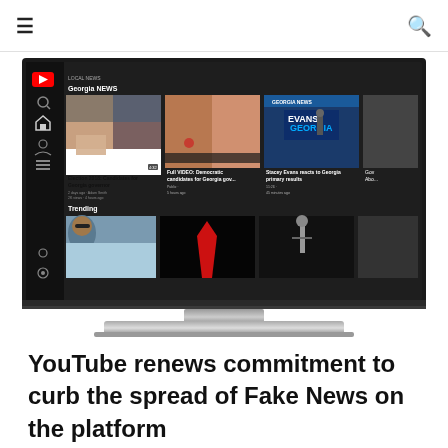≡ [hamburger menu] [search icon]
[Figure (screenshot): A smart TV displaying the YouTube app interface on a dark background, showing a 'Georgia News' section with video thumbnails of political candidates and a 'Trending' section below with entertainment video thumbnails. The TV has a silver stand.]
YouTube renews commitment to curb the spread of Fake News on the platform